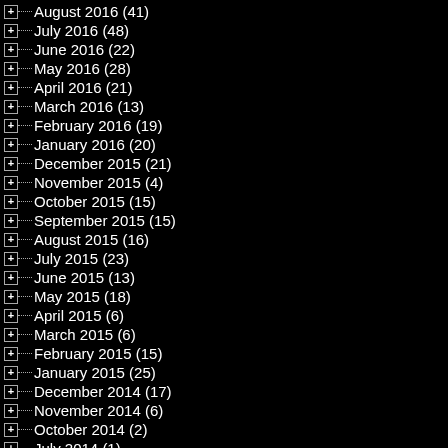August 2016 (41)
July 2016 (48)
June 2016 (22)
May 2016 (28)
April 2016 (21)
March 2016 (13)
February 2016 (19)
January 2016 (20)
December 2015 (21)
November 2015 (4)
October 2015 (15)
September 2015 (15)
August 2015 (16)
July 2015 (23)
June 2015 (13)
May 2015 (18)
April 2015 (6)
March 2015 (6)
February 2015 (15)
January 2015 (25)
December 2014 (17)
November 2014 (6)
October 2014 (2)
July 2014 (1)